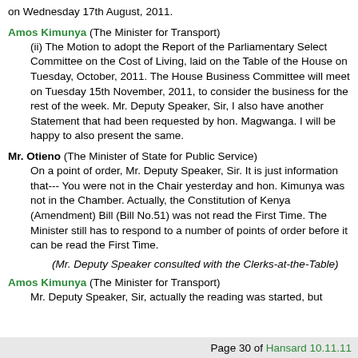on Wednesday 17th August, 2011.
Amos Kimunya (The Minister for Transport)
(ii) The Motion to adopt the Report of the Parliamentary Select Committee on the Cost of Living, laid on the Table of the House on Tuesday, October, 2011. The House Business Committee will meet on Tuesday 15th November, 2011, to consider the business for the rest of the week. Mr. Deputy Speaker, Sir, I also have another Statement that had been requested by hon. Magwanga. I will be happy to also present the same.
Mr. Otieno (The Minister of State for Public Service)
On a point of order, Mr. Deputy Speaker, Sir. It is just information that--- You were not in the Chair yesterday and hon. Kimunya was not in the Chamber. Actually, the Constitution of Kenya (Amendment) Bill (Bill No.51) was not read the First Time. The Minister still has to respond to a number of points of order before it can be read the First Time.
(Mr. Deputy Speaker consulted with the Clerks-at-the-Table)
Page 30 of Hansard 10.11.11
Amos Kimunya (The Minister for Transport)
Mr. Deputy Speaker, Sir, actually the reading was started, but...